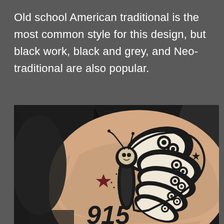Old school American traditional is the most common style for this design, but black work, black and grey, and Neo-traditional are also popular.
[Figure (photo): A black ink tattoo of a moth/butterfly with large detailed wings featuring eye-like patterns, a human-like face/skull head, antennae, and decorative stars, inked on a person's hip/torso area with the numbers '915' visible at the bottom. The person is wearing a black shirt.]